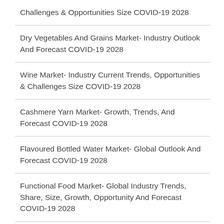Challenges & Opportunities Size COVID-19 2028
Dry Vegetables And Grains Market- Industry Outlook And Forecast COVID-19 2028
Wine Market- Industry Current Trends, Opportunities & Challenges Size COVID-19 2028
Cashmere Yarn Market- Growth, Trends, And Forecast COVID-19 2028
Flavoured Bottled Water Market- Global Outlook And Forecast COVID-19 2028
Functional Food Market- Global Industry Trends, Share, Size, Growth, Opportunity And Forecast COVID-19 2028